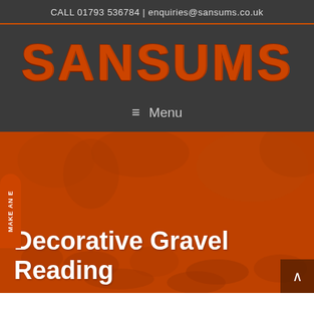CALL 01793 536784 | enquiries@sansums.co.uk
SANSUMS
≡   Menu
[Figure (photo): Background photo of decorative gravel and plants with orange/red color overlay, showing a garden scene.]
Decorative Gravel Reading